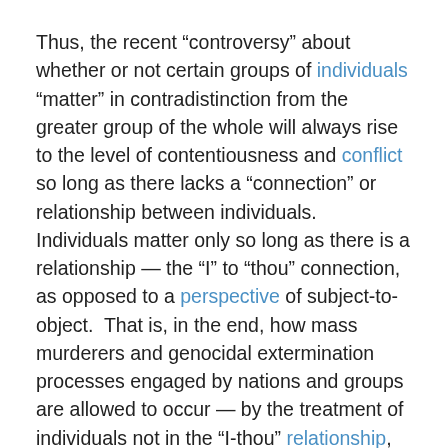Thus, the recent “controversy” about whether or not certain groups of individuals “matter” in contradistinction from the greater group of the whole will always rise to the level of contentiousness and conflict so long as there lacks a “connection” or relationship between individuals. Individuals matter only so long as there is a relationship — the “I” to “thou” connection, as opposed to a perspective of subject-to-object. That is, in the end, how mass murderers and genocidal extermination processes engaged by nations and groups are allowed to occur — by the treatment of individuals not in the “I-thou” relationship, but as individuals treated as objects that do not matter.
For Federal employees and U.S. Postal workers who suffer from a medical condition such that the medical condition prevents the Federal or Postal employee from